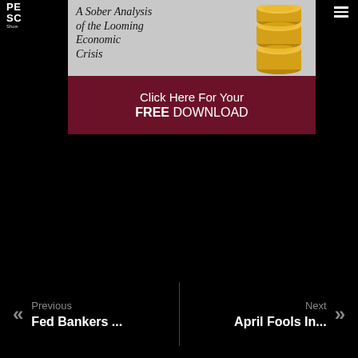[Figure (screenshot): Advertisement banner: top half shows italic text 'A Sober Analysis of the Looming Economic Crisis' on grey background with stacked gold coins image. Bottom half shows dark maroon/burgundy background with white text 'Click Here For Your FREE DOWNLOAD'.]
« Previous Fed Bankers ... | Next April Fools In... »